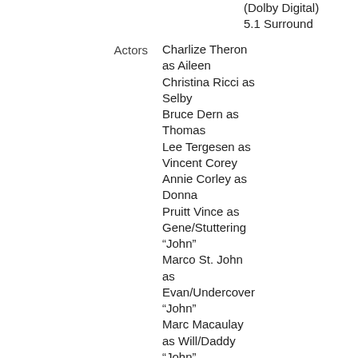(Dolby Digital) 5.1 Surround
Actors
Charlize Theron as Aileen
Christina Ricci as Selby
Bruce Dern as Thomas
Lee Tergesen as Vincent Corey
Annie Corley as Donna
Pruitt Vince as Gene/Stuttering "John"
Marco St. John as Evan/Undercover "John"
Marc Macaulay as Will/Daddy "John"
Scott Wilson as Horton/Last "John"
Rus Blackwell as Cop
Tim Ware as Chuck
Stephan Jones as Lawyer
Brett Rice as Charles